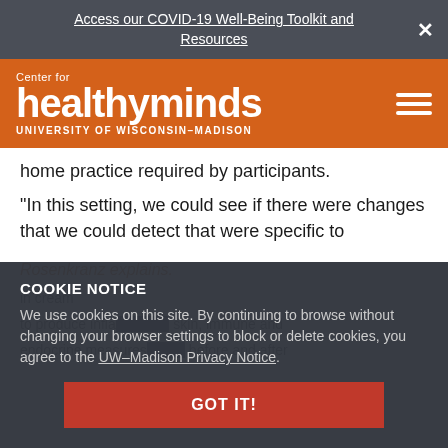Access our COVID-19 Well-Being Toolkit and Resources
[Figure (logo): Center for Healthy Minds, University of Wisconsin-Madison logo on orange background with hamburger menu icon]
home practice required by participants.
“In this setting, we could see if there were changes that we could detect that were specific to
Rosenkranz explains.
COOKIE NOTICE
We use cookies on this site. By continuing to browse without changing your browser settings to block or delete cookies, you agree to the UW–Madison Privacy Notice.
to produce infla... skin, immune and endocrine measures... before and after